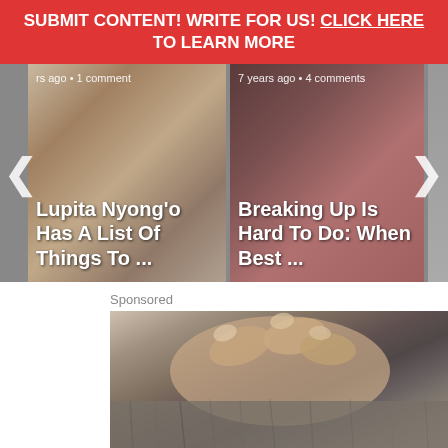SUBMIT CONTENT! WRITE FOR US! CLICK HERE TO LEARN MORE
[Figure (screenshot): Carousel slider showing article cards. Left card: 'Lupita Nyong'o Has A List Of Things To ...' with metadata 'rs ago • 1 comment'. Center card: 'Breaking Up Is Hard To Do: When Best ...' with metadata '7 years ago • 4 comments'. Partial right card visible. Left and right navigation arrows visible.]
Sponsored
[Figure (photo): Close-up photo of human fingers parting through animal fur (appears to be a pet being checked), showing skin and gray/brown fur texture.]